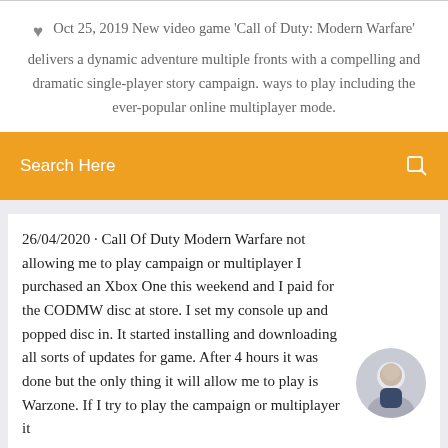Oct 25, 2019 New video game 'Call of Duty: Modern Warfare' delivers a dynamic adventure multiple fronts with a compelling and dramatic single-player story campaign. ways to play including the ever-popular online multiplayer mode.
[Figure (screenshot): Orange search bar with text 'Search Here' and a search icon on the right]
26/04/2020 · Call Of Duty Modern Warfare not allowing me to play campaign or multiplayer I purchased an Xbox One this weekend and I paid for the CODMW disc at store. I set my console up and popped disc in. It started installing and downloading all sorts of updates for game. After 4 hours it was done but the only thing it will allow me to play is Warzone. If I try to play the campaign or multiplayer it
Oct 27, 2019 In the new Modern Warfare. Are you